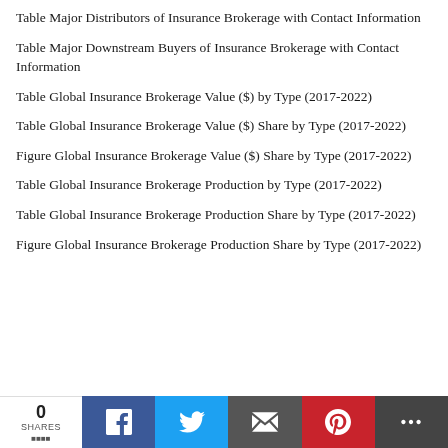Table Major Distributors of Insurance Brokerage with Contact Information
Table Major Downstream Buyers of Insurance Brokerage with Contact Information
Table Global Insurance Brokerage Value ($) by Type (2017-2022)
Table Global Insurance Brokerage Value ($) Share by Type (2017-2022)
Figure Global Insurance Brokerage Value ($) Share by Type (2017-2022)
Table Global Insurance Brokerage Production by Type (2017-2022)
Table Global Insurance Brokerage Production Share by Type (2017-2022)
Figure Global Insurance Brokerage Production Share by Type (2017-2022)